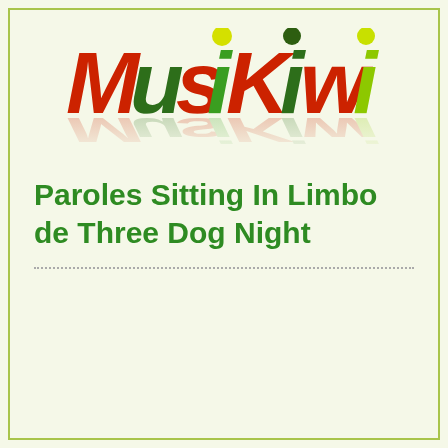[Figure (logo): MusiKiwi logo with colorful chunky letters: red M, dark-green u, red s, green i with yellow dot, red K, dark-green i, red w, light-green i — with reflection effect below]
Paroles Sitting In Limbo de Three Dog Night